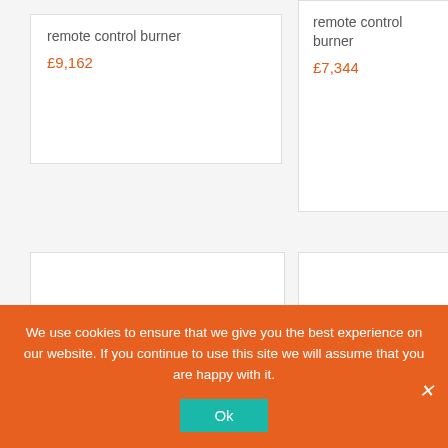remote control burner
£9,162
remote control burner
£7,344
[Figure (photo): Rectangular bio-ethanol fireplace burner insert with flames, stainless steel body, black top panel]
[Figure (photo): Rectangular bio-ethanol fireplace burner insert with flames, stainless steel body, black top panel, slightly different angle]
We use cookies to ensure that we give you the best experience on our website. If you continue to use this site we will assume that you are happy with it.
Ok